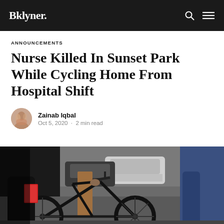Bklyner.
ANNOUNCEMENTS
Nurse Killed In Sunset Park While Cycling Home From Hospital Shift
Zainab Iqbal
Oct 5, 2020 • 2 min read
[Figure (photo): Street scene showing a bicycle wheel and frame in the foreground, with people's legs and parked cars visible in the background on a city street.]